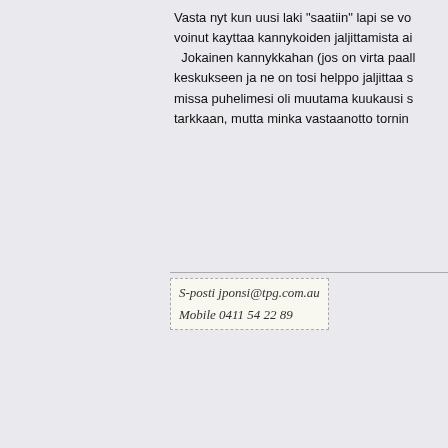Vasta nyt kun uusi laki "saatiin" lapi se vo... voinut kayttaa kannykoiden jaljittamista ai... Jokainen kannykkahan (jos on virta paall... keskukseen ja ne on tosi helppo jaljittaa s... missa puhelimesi oli muutama kuukausi s... tarkkaan, mutta minka vastaanotto tornin...
[Figure (other): Handwritten-style signature image showing: S-posti jponsi@tpg.com.au, Mobile 0411 54 22 89]
Jukka
Knihti
Viestejä: 141
(Ei otsikkoa)
« Vastaus #61 : Syyskuu 18, 2003, 03:54
Lisäkommentteja puhelimien jäljittämiseen...
En usko että kännyköiden blokkaamisen e... sillä ei siinä rikota mitään lakia. Kännyköid... asiaa.
Puhun nyt tunnistamisesta, en jäljittämise... kännykkään laitetaan virta päälle niin tapa... tiedot, kuten IMEi ja SIM tiedot. Jos verko... niin ne on merkattu mustaan listaan. Sillo... käyttää. Se ei liity mitenkään siihen missä...